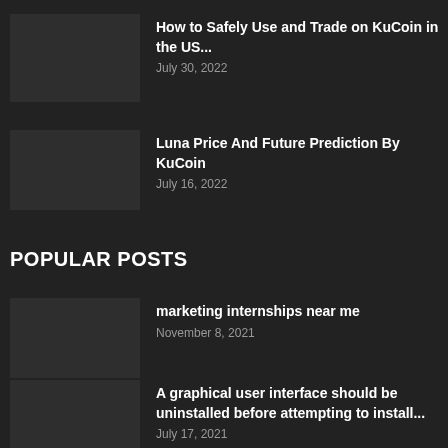How to Safely Use and Trade on KuCoin in the US...
July 30, 2022
Luna Price And Future Prediction By KuCoin
July 16, 2022
POPULAR POSTS
marketing internships near me
November 8, 2021
A graphical user interface should be uninstalled before attempting to install...
July 17, 2021